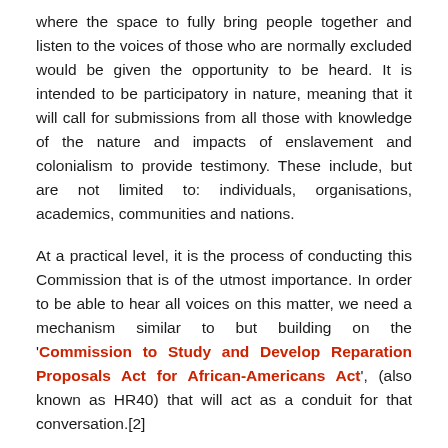where the space to fully bring people together and listen to the voices of those who are normally excluded would be given the opportunity to be heard. It is intended to be participatory in nature, meaning that it will call for submissions from all those with knowledge of the nature and impacts of enslavement and colonialism to provide testimony. These include, but are not limited to: individuals, organisations, academics, communities and nations.
At a practical level, it is the process of conducting this Commission that is of the utmost importance. In order to be able to hear all voices on this matter, we need a mechanism similar to but building on the 'Commission to Study and Develop Reparation Proposals Act for African-Americans Act', (also known as HR40) that will act as a conduit for that conversation.[2]
This process cannot be bypassed because there are so many different constituencies and Communities of African Reparations Interest that need to be heard. The APPCITARJ will provide the basis for affected communities and individuals to voice their own self-determined